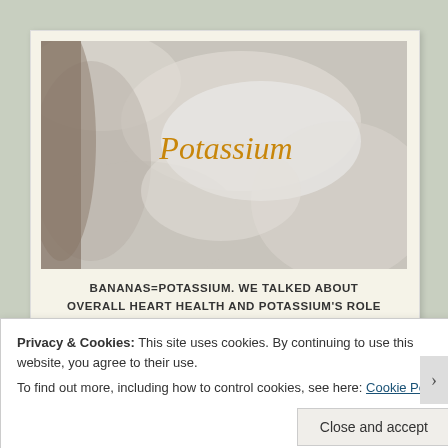[Figure (photo): Photo of crinkled white/gray paper with the word 'Potassium' written in italic golden-brown text overlaid on it]
BANANAS=POTASSIUM. WE TALKED ABOUT OVERALL HEART HEALTH AND POTASSIUM'S ROLE
Privacy & Cookies: This site uses cookies. By continuing to use this website, you agree to their use. To find out more, including how to control cookies, see here: Cookie Policy